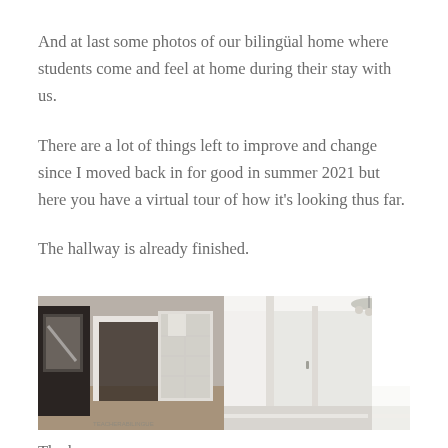And at last some photos of our bilингüal home where students come and feel at home during their stay with us.
There are a lot of things left to improve and change since I moved back in for good in summer 2021 but here you have a virtual tour of how it's looking thus far.
The hallway is already finished.
[Figure (photo): Two side-by-side photos of a hallway interior. Left photo shows a dark-framed mirror, doorways with white trim and a glazed door. Right photo shows a bright white hallway corridor with a chandelier.]
The k... (partial text cut off at bottom)